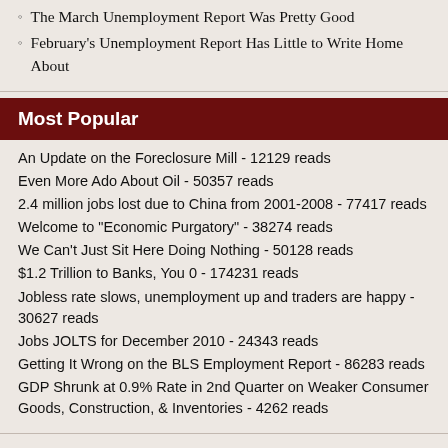The March Unemployment Report Was Pretty Good
February's Unemployment Report Has Little to Write Home About
Most Popular
An Update on the Foreclosure Mill - 12129 reads
Even More Ado About Oil - 50357 reads
2.4 million jobs lost due to China from 2001-2008 - 77417 reads
Welcome to "Economic Purgatory" - 38274 reads
We Can't Just Sit Here Doing Nothing - 50128 reads
$1.2 Trillion to Banks, You 0 - 174231 reads
Jobless rate slows, unemployment up and traders are happy - 30627 reads
Jobs JOLTS for December 2010 - 24343 reads
Getting It Wrong on the BLS Employment Report - 86283 reads
GDP Shrunk at 0.9% Rate in 2nd Quarter on Weaker Consumer Goods, Construction, & Inventories - 4262 reads